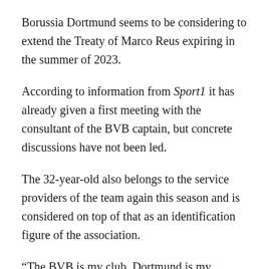Borussia Dortmund seems to be considering to extend the Treaty of Marco Reus expiring in the summer of 2023.
According to information from Sport1 it has already given a first meeting with the consultant of the BVB captain, but concrete discussions have not been led.
The 32-year-old also belongs to the service providers of the team again this season and is considered on top of that as an identification figure of the association.
“The BVB is my club, Dortmund is my hometown and I would like to end my career here,” Reus said recently in the interview with the _ picture on Sunday_ and led out: